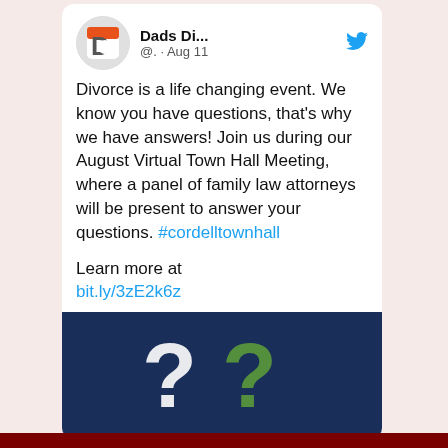[Figure (screenshot): A screenshot of a Twitter/social media post by 'Dads Di...' account (@.) from Aug 11. The post reads: 'Divorce is a life changing event. We know you have questions, that's why we have answers! Join us during our August Virtual Town Hall Meeting, where a panel of family law attorneys will be present to answer your questions. #cordelltownhall

Learn more at bit.ly/3zE2k6z'. Below the text is an image with a dark blue background showing white and green question mark symbols.]